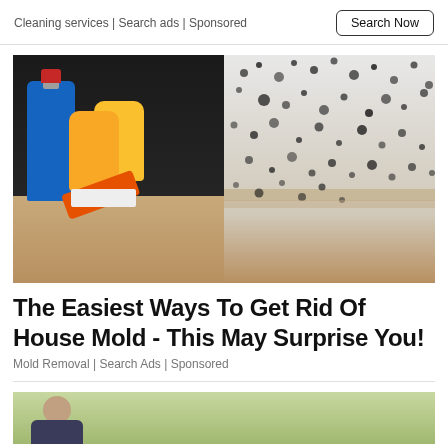Cleaning services | Search ads | Sponsored
[Figure (photo): Photo of cleaning supplies (blue spray bottle, yellow rubber gloves, orange-handled scrub brush) on a wooden floor against a dark wall, next to a white wall covered in black mold spots]
The Easiest Ways To Get Rid Of House Mold - This May Surprise You!
Mold Removal | Search Ads | Sponsored
[Figure (photo): Partial photo of a person in a suit, cropped at bottom of page]